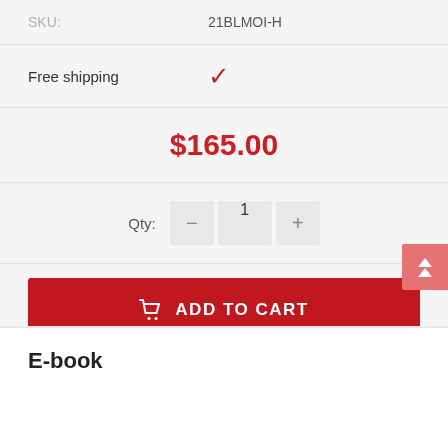SKU: 21BLMOI-H
Free shipping ✓
$165.00
Qty: 1
ADD TO CART
E-book